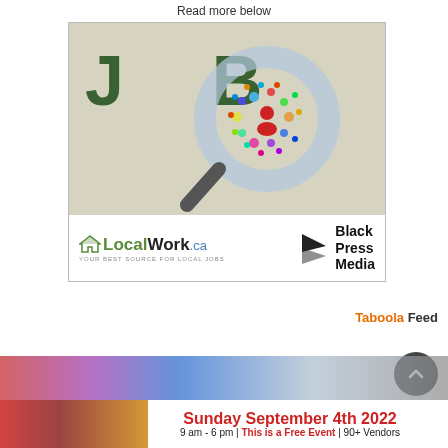Read more below
[Figure (logo): LocalWork.ca and Black Press Media job advertisement banner with magnifying glass 'JOB' graphic on beige background]
Taboola Feed
[Figure (infographic): Bottom banner ad: Sunday September 4th 2022, 9 am - 6 pm | This is a Free Event | 90+ Vendors]